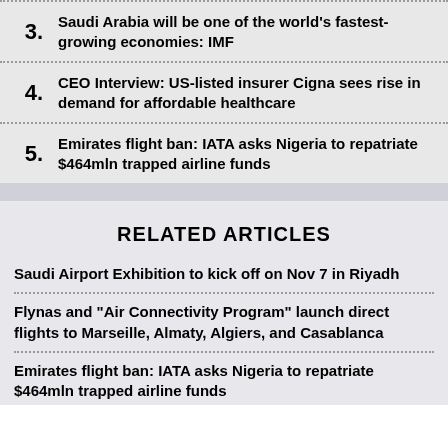3. Saudi Arabia will be one of the world's fastest-growing economies: IMF
4. CEO Interview: US-listed insurer Cigna sees rise in demand for affordable healthcare
5. Emirates flight ban: IATA asks Nigeria to repatriate $464mln trapped airline funds
RELATED ARTICLES
Saudi Airport Exhibition to kick off on Nov 7 in Riyadh
Flynas and "Air Connectivity Program" launch direct flights to Marseille, Almaty, Algiers, and Casablanca
Emirates flight ban: IATA asks Nigeria to repatriate $464mln trapped airline funds